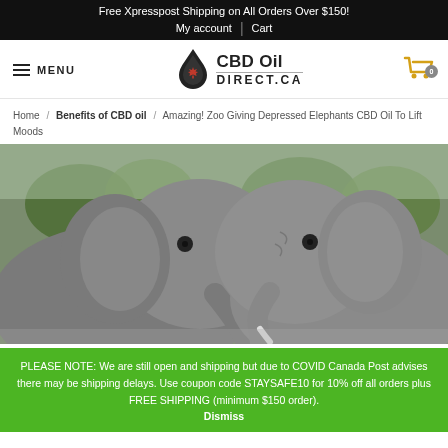Free Xpresspost Shipping on All Orders Over $150!
My account | Cart
[Figure (logo): CBD Oil Direct.ca logo with maple leaf droplet icon]
Home / Benefits of CBD oil / Amazing! Zoo Giving Depressed Elephants CBD Oil To Lift Moods
[Figure (photo): Two elephants facing each other close-up with trees in background]
PLEASE NOTE: We are still open and shipping but due to COVID Canada Post advises there may be shipping delays. Use coupon code STAYSAFE10 for 10% off all orders plus FREE SHIPPING (minimum $150 order).
Dismiss